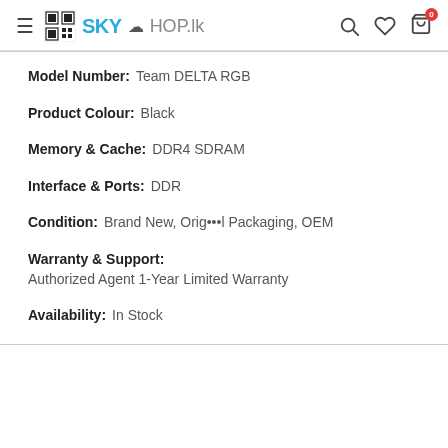SKYShop.lk
Model Number: Team DELTA RGB
Product Colour: Black
Memory & Cache: DDR4 SDRAM
Interface & Ports: DDR
Condition: Brand New, Original Packaging, OEM
Warranty & Support: Authorized Agent 1-Year Limited Warranty
Availability: In Stock